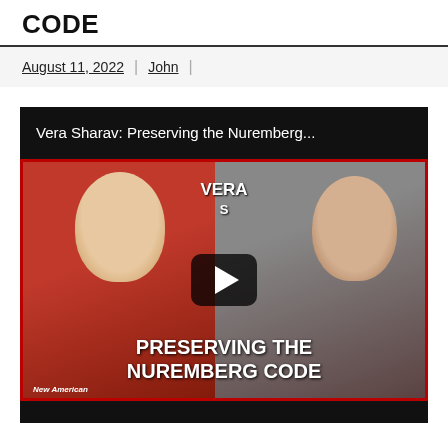CODE
August 11, 2022 | John |
[Figure (screenshot): Video thumbnail showing 'Vera Sharav: Preserving the Nuremberg...' with two women and a play button overlay. Bottom text reads 'PRESERVING THE NUREMBERG CODE' with New American logo.]